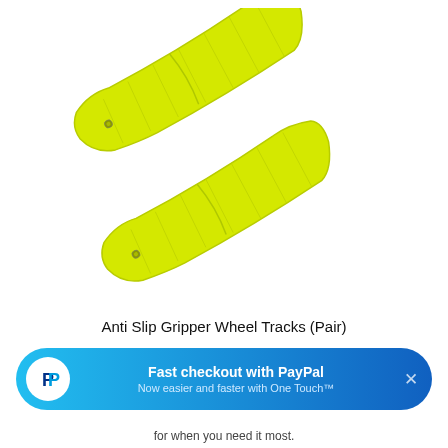[Figure (photo): Two bright yellow anti-slip gripper wheel track mats shown diagonally on a white background. The mats are long, rectangular, slightly wavy/textured, and bright yellow-green in color.]
Anti Slip Gripper Wheel Tracks (Pair)
[Figure (infographic): PayPal promotional banner with gradient blue background, PayPal logo on left, text 'Fast checkout with PayPal' and 'Now easier and faster with One Touch™', close X button on right.]
for when you need it most.